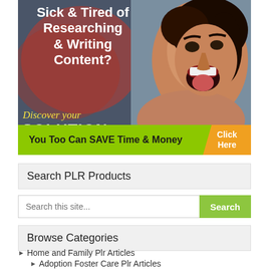[Figure (illustration): Advertisement banner with a frustrated woman screaming, text overlay: 'Sick & Tired of Researching & Writing Content? Discover your SOLUTION'. Green bar at bottom: 'You Too Can SAVE Time & Money' with orange 'Click Here' button.]
Search PLR Products
Search this site...
Browse Categories
Home and Family Plr Articles
Adoption Foster Care Plr Articles